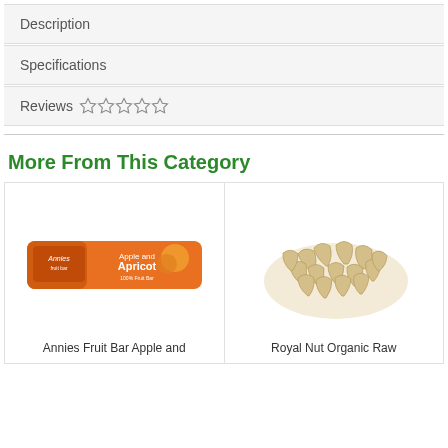Description
Specifications
Reviews ☆ ☆ ☆ ☆ ☆
More From This Category
[Figure (photo): Annies Fruit Bar Apple and Apricot product photo — orange wrapped fruit bar]
[Figure (photo): Royal Nut Organic Raw cashews pile on white background]
Annies Fruit Bar Apple and
Royal Nut Organic Raw